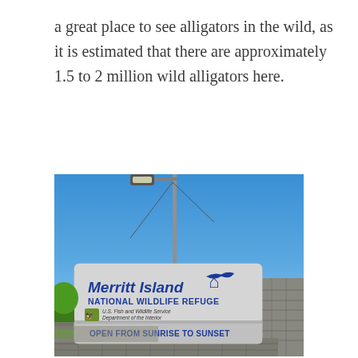a great place to see alligators in the wild, as it is estimated that there are approximately 1.5 to 2 million wild alligators here.
[Figure (photo): Entrance sign for Merritt Island National Wildlife Refuge. The sign reads 'Merritt Island NATIONAL WILDLIFE REFUGE' with a flying bird logo, 'U.S. Fish and Wildlife Service, Department of the Interior' text, and 'OPEN FROM SUNRISE TO SUNSET' at the bottom. A tall lamp post is visible behind the sign against a clear blue sky, with a stone pillar to the right.]